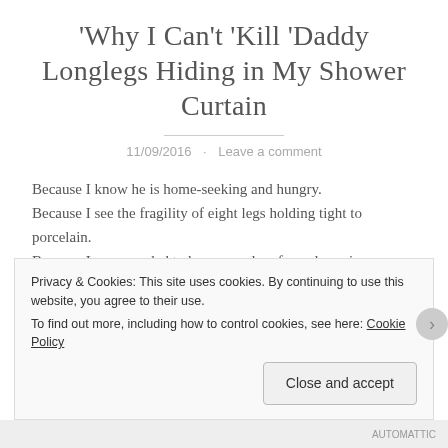Why I Can't Kill Daddy Longlegs Hiding in My Shower Curtain
11/09/2016 · Leave a comment
Because I know he is home-seeking and hungry.
Because I see the fragility of eight legs holding tight to porcelain.
Because I once needed to be scooped up from drowning showers to sunlit window panes.
Because when I was nine, I had to break into our motel
Privacy & Cookies: This site uses cookies. By continuing to use this website, you agree to their use.
To find out more, including how to control cookies, see here: Cookie Policy
[Close and accept]